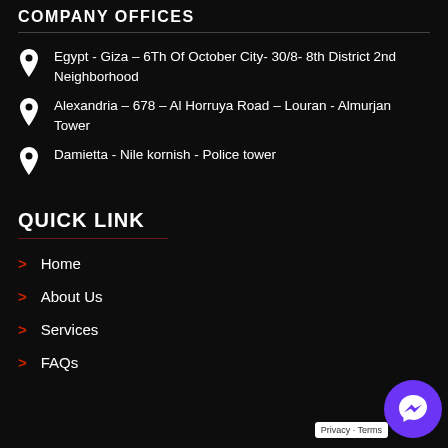COMPANY OFFICES
Egypt - Giza – 6Th Of October City- 30/8- 8th District 2nd Neighborhood
Alexandria – 678 – Al Horruya Road – Louran - Almurjan Tower
Damietta - Nile kornish - Police tower
QUICK LINK
Home
About Us
Services
FAQs